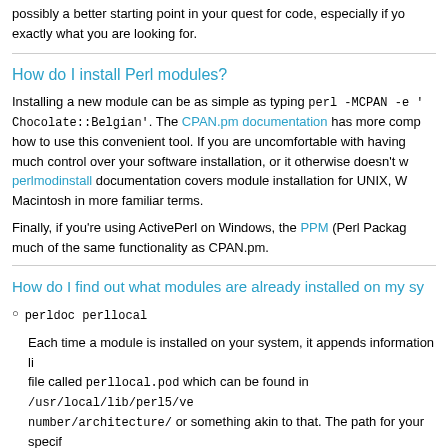possibly a better starting point in your quest for code, especially if you are looking for exactly what you are looking for.
How do I install Perl modules?
Installing a new module can be as simple as typing perl -MCPAN -e 'Chocolate::Belgian'. The CPAN.pm documentation has more complete information on how to use this convenient tool. If you are uncomfortable with having that much control over your software installation, or it otherwise doesn't work, the perlmodinstall documentation covers module installation for UNIX, Windows, and Macintosh in more familiar terms.
Finally, if you're using ActivePerl on Windows, the PPM (Perl Package Manager) provides much of the same functionality as CPAN.pm.
How do I find out what modules are already installed on my sy...
perldoc perllocal
Each time a module is installed on your system, it appends information like this to a file called perllocal.pod which can be found in /usr/local/lib/perl5/version-number/architecture/ or something akin to that. The path for your specific @INC which you can divine with perl -V.
=head2 Wed May 12 13:42:53 1999: C<Module> L<Data::Dumper>